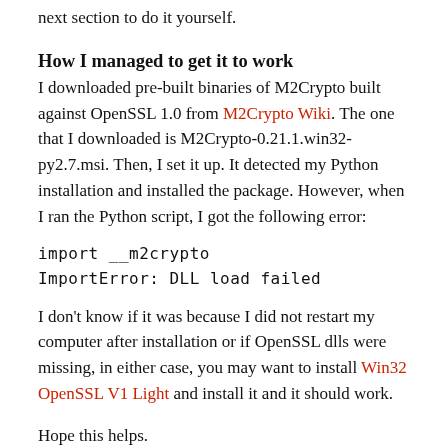next section to do it yourself.
How I managed to get it to work
I downloaded pre-built binaries of M2Crypto built against OpenSSL 1.0 from M2Crypto Wiki. The one that I downloaded is M2Crypto-0.21.1.win32-py2.7.msi. Then, I set it up. It detected my Python installation and installed the package. However, when I ran the Python script, I got the following error:
import __m2crypto
ImportError: DLL load failed
I don't know if it was because I did not restart my computer after installation or if OpenSSL dlls were missing, in either case, you may want to install Win32 OpenSSL V1 Light and install it and it should work.
Hope this helps.